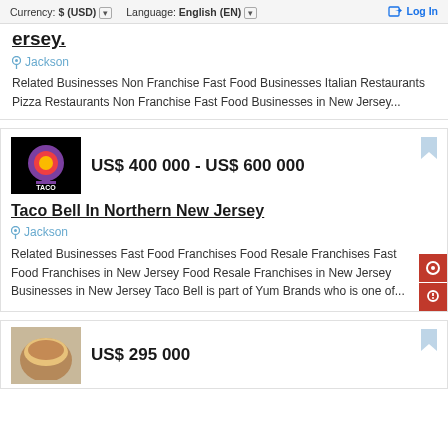Currency: $ (USD) Language: English (EN) Log In
ersey.
Jackson
Related Businesses Non Franchise Fast Food Businesses Italian Restaurants Pizza Restaurants Non Franchise Fast Food Businesses in New Jersey...
US$ 400 000 - US$ 600 000
Taco Bell In Northern New Jersey
Jackson
Related Businesses Fast Food Franchises Food Resale Franchises Fast Food Franchises in New Jersey Food Resale Franchises in New Jersey Businesses in New Jersey Taco Bell is part of Yum Brands who is one of...
US$ 295 000